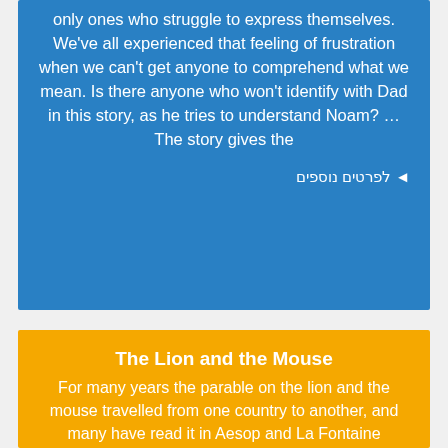only ones who struggle to express themselves. We've all experienced that feeling of frustration when we can't get anyone to comprehend what we mean. Is there anyone who won't identify with Dad in this story, as he tries to understand Noam? … The story gives the
◄ לפרטים נוספים
The Lion and the Mouse
For many years the parable on the lion and the mouse travelled from one country to another, and many have read it in Aesop and La Fontaine collections. Like many folk